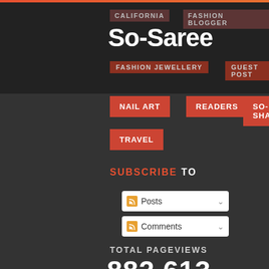So-Saree
CALIFORNIA
FASHION BLOGGER
FASHION JEWELLERY
GUEST POST
NAIL ART
READERS
SO-SHAADI
TRAVEL
SUBSCRIBE TO
Posts
Comments
TOTAL PAGEVIEWS
882,613
ABOUT SO-SAREE